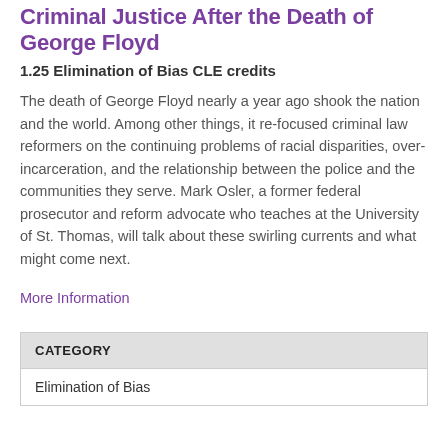Criminal Justice After the Death of George Floyd
1.25 Elimination of Bias CLE credits
The death of George Floyd nearly a year ago shook the nation and the world. Among other things, it re-focused criminal law reformers on the continuing problems of racial disparities, over-incarceration, and the relationship between the police and the communities they serve. Mark Osler, a former federal prosecutor and reform advocate who teaches at the University of St. Thomas, will talk about these swirling currents and what might come next.
More Information
| CATEGORY |
| --- |
| Elimination of Bias |